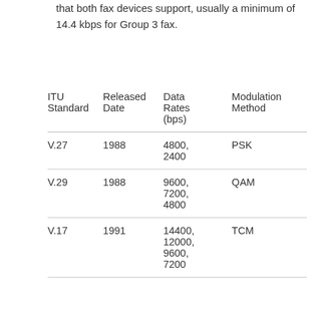that both fax devices support, usually a minimum of 14.4 kbps for Group 3 fax.
| ITU Standard | Released Date | Data Rates (bps) | Modulation Method |
| --- | --- | --- | --- |
| V.27 | 1988 | 4800, 2400 | PSK |
| V.29 | 1988 | 9600, 7200, 4800 | QAM |
| V.17 | 1991 | 14400, 12000, 9600, 7200 | TCM |